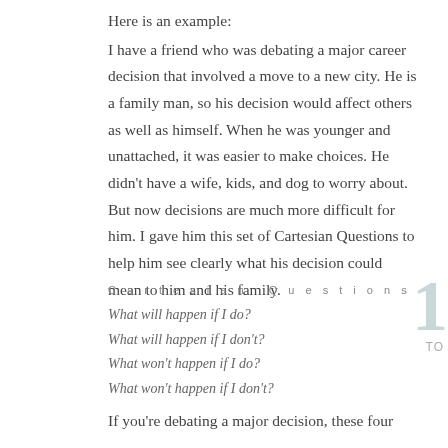Here is an example:
I have a friend who was debating a major career decision that involved a move to a new city. He is a family man, so his decision would affect others as well as himself. When he was younger and unattached, it was easier to make choices. He didn't have a wife, kids, and dog to worry about. But now decisions are much more difficult for him. I gave him this set of Cartesian Questions to help him see clearly what his decision could mean to him and his family.
Cartesian Questions
What will happen if I do?
What will happen if I don't?
What won't happen if I do?
What won't happen if I don't?
If you're debating a major decision, these four